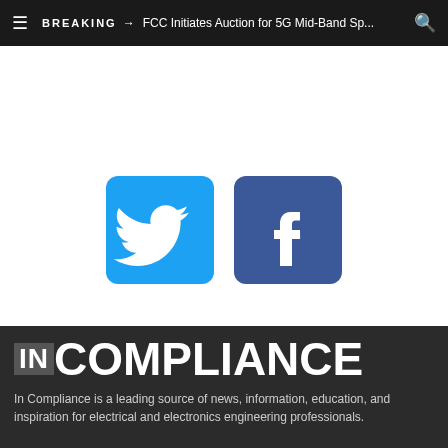BREAKING → FCC Initiates Auction for 5G Mid-Band Sp...
[Figure (logo): Twitter bird logo icon on a blue rounded square background]
[Figure (logo): Facebook 'f' logo icon on a dark blue rounded square background]
[Figure (logo): InCompliance magazine logo — 'IN' in a grey box followed by 'COMPLIANCE' in large white bold text on dark background]
In Compliance is a leading source of news, information, education, and inspiration for electrical and electronics engineering professionals.